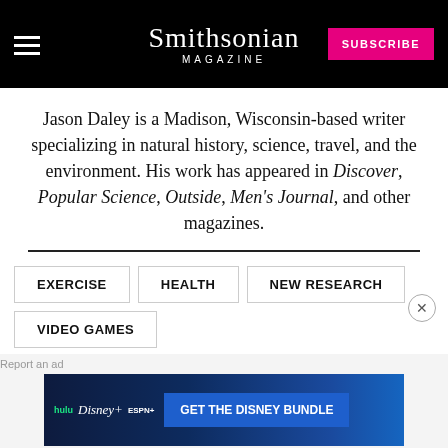Smithsonian Magazine | SUBSCRIBE
Jason Daley is a Madison, Wisconsin-based writer specializing in natural history, science, travel, and the environment. His work has appeared in Discover, Popular Science, Outside, Men's Journal, and other magazines.
EXERCISE
HEALTH
NEW RESEARCH
VIDEO GAMES
[Figure (screenshot): Disney Bundle advertisement banner with Hulu, Disney+, ESPN+ logos and 'GET THE DISNEY BUNDLE' call to action]